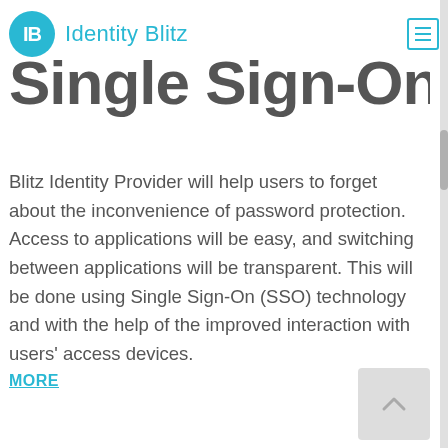Identity Blitz
Single Sign-On
Blitz Identity Provider will help users to forget about the inconvenience of password protection. Access to applications will be easy, and switching between applications will be transparent. This will be done using Single Sign-On (SSO) technology and with the help of the improved interaction with users’ access devices.
MORE